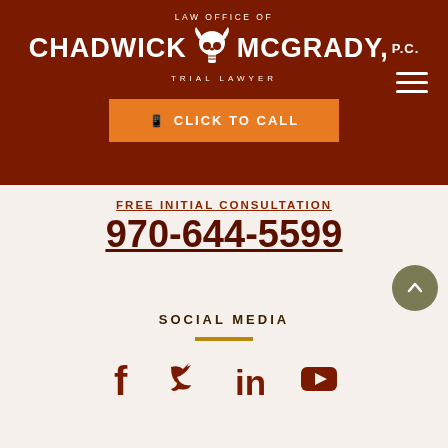[Figure (logo): Law Office of Chadwick McGrady P.C. Trial Lawyer logo with longhorn skull on dark red background]
CLICK TO CALL
FREE INITIAL CONSULTATION
970-644-5599
SOCIAL MEDIA
[Figure (illustration): Social media icons: Facebook, Twitter, LinkedIn, YouTube]